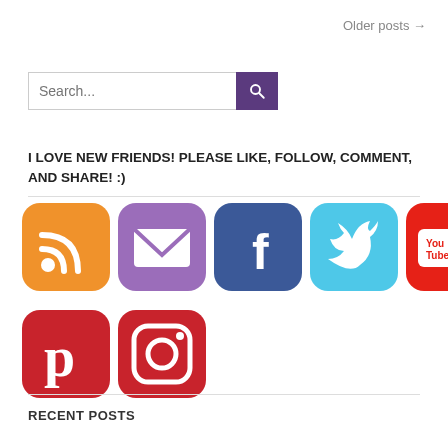Older posts →
Search...
I LOVE NEW FRIENDS! PLEASE LIKE, FOLLOW, COMMENT, AND SHARE! :)
[Figure (illustration): Row of social media icons: RSS (orange), Email (purple), Facebook (blue), Twitter (cyan), YouTube (red/white). Second row: Pinterest (red), Instagram (red gradient).]
RECENT POSTS
The Real Scoop on Getting a Puppy When You Already Have Kids
If You Don't Host a Party This Summer, You're Missing Out!
Rachel Held Evans: Her Impact and Influence